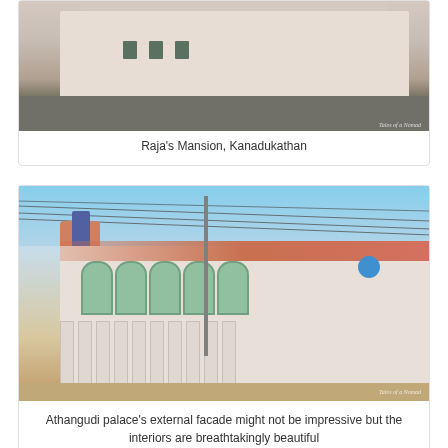[Figure (photo): Photograph of Raja's Mansion in Kanadukathan, showing a large white colonial-style building with a gopuram (temple tower) visible behind it, along with a road in front. Watermark reads 'Tales of a Nomad'.]
Raja's Mansion, Kanadukathan
[Figure (photo): Photograph of Athangudi palace's external facade showing a colorful, ornate building with arches, columns, decorative motifs, blue circles, a temple tower on the left, power lines crossing the sky, and a motorcycle in front. Watermark reads 'Tales of a Nomad'.]
Athangudi palace's external facade might not be impressive but the interiors are breathtakingly beautiful